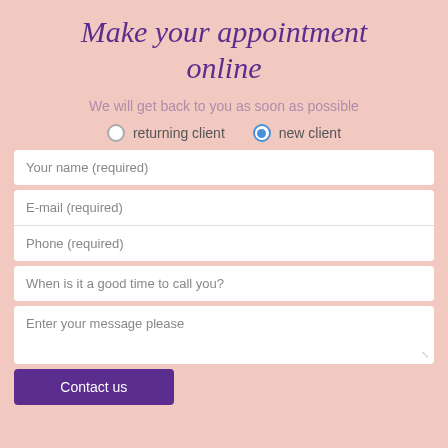Make your appointment online
We will get back to you as soon as possible
returning client (radio button, unselected)
new client (radio button, selected)
Your name (required)
E-mail (required)
Phone (required)
When is it a good time to call you?
Enter your message please
Contact us